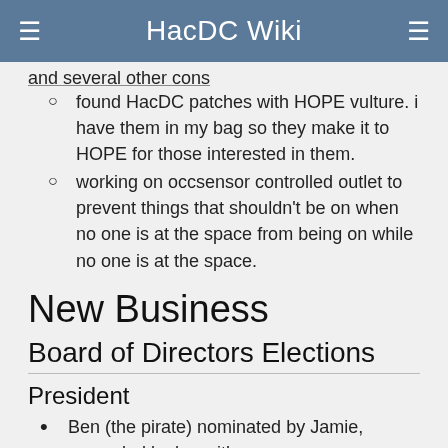HacDC Wiki
and several other cons
found HacDC patches with HOPE vulture. i have them in my bag so they make it to HOPE for those interested in them.
working on occsensor controlled outlet to prevent things that shouldn't be on when no one is at the space from being on while no one is at the space.
New Business
Board of Directors Elections
President
Ben (the pirate) nominated by Jamie, seconded by haxwithaxe
Vice President